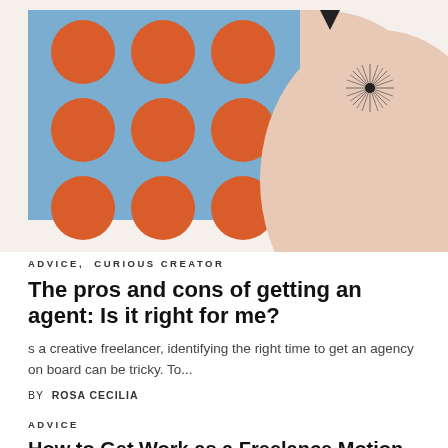[Figure (illustration): Decorative illustration: left portion shows a blue background with orange polka dots; right portion shows a peach/beige abstract shape with a dark starburst/sunburst graphic element in the upper right area. A small dark triangular shape appears at the top center.]
ADVICE, CURIOUS CREATOR
The pros and cons of getting an agent: Is it right for me?
s a creative freelancer, identifying the right time to get an agency on board can be tricky. To...
BY ROSA CECILIA
ADVICE
How to Get Work as a Freelance Motion Graphics Designer